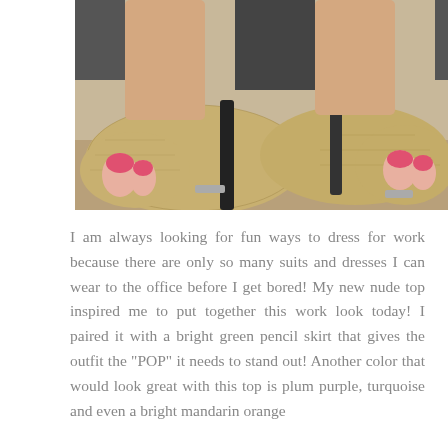[Figure (photo): Close-up photo of a pair of snakeskin-print open-toe high-heel shoes worn on sandy ground, showing toes with pink nail polish peeking out of the peep-toe openings.]
I am always looking for fun ways to dress for work because there are only so many suits and dresses I can wear to the office before I get bored! My new nude top inspired me to put together this work look today! I paired it with a bright green pencil skirt that gives the outfit the "POP" it needs to stand out! Another color that would look great with this top is plum purple, turquoise and even a bright mandarin orange